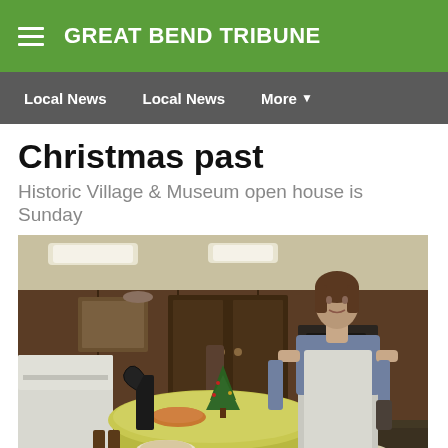GREAT BEND TRIBUNE
Local News | Local News | More
Christmas past
Historic Village & Museum open house is Sunday
[Figure (photo): Interior of a historic museum kitchen display with a mannequin dressed in period clothing (apron over blue floral dress), standing near a round table covered with a yellow-green tablecloth with food items on it. Wooden furniture and cabinets in the background, a small Christmas tree on the table, and vintage kitchen equipment visible.]